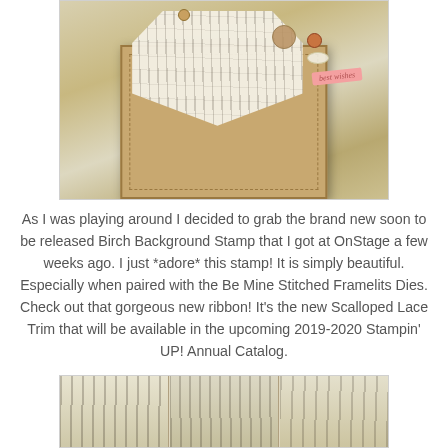[Figure (photo): Handmade greeting card featuring a heart shape with birch background stamp, burlap textures, buttons, white ribbon bow, and a pink 'Best Wishes' tag, on a kraft paper card base]
As I was playing around I decided to grab the brand new soon to be released Birch Background Stamp that I got at OnStage a few weeks ago.  I just *adore* this stamp!  It is simply beautiful.  Especially when paired with the Be Mine Stitched Framelits Dies.  Check out that gorgeous new ribbon!  It's the new Scalloped Lace Trim that will be available in the upcoming 2019-2020 Stampin' UP! Annual Catalog.
[Figure (photo): Close-up photo showing three panels of the Birch Background Stamp in black ink on white/tan cardstock, with other craft materials partially visible]